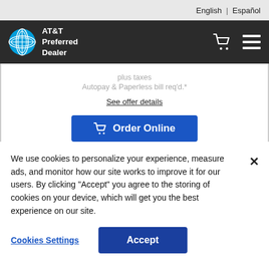English | Español
[Figure (logo): AT&T Preferred Dealer logo with globe icon, cart icon, and hamburger menu on dark navigation bar]
plus taxes
Autopay & Paperless bill req'd.*
See offer details
Order Online
We use cookies to personalize your experience, measure ads, and monitor how our site works to improve it for our users. By clicking "Accept" you agree to the storing of cookies on your device, which will get you the best experience on our site.
Cookies Settings
Accept